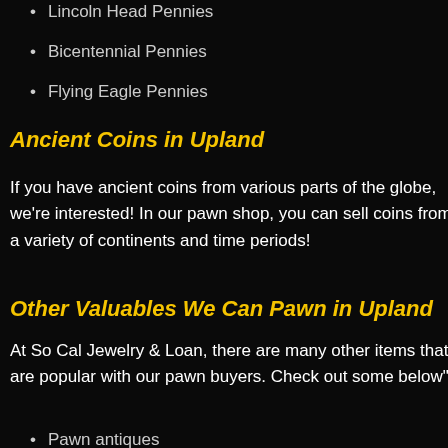Lincoln Head Pennies
Bicentennial Pennies
Flying Eagle Pennies
Ancient Coins in Upland
If you have ancient coins from various parts of the globe, we're interested! In our pawn shop, you can sell coins from a variety of continents and time periods!
Other Valuables We Can Pawn in Upland
At So Cal Jewelry & Loan, there are many other items that are popular with our pawn buyers. Check out some below":
Pawn antiques
Pawn tools
Everything else!
Why Choose So Cal Jewelry & Loan?
Let's find out why you should always choose a So Cal